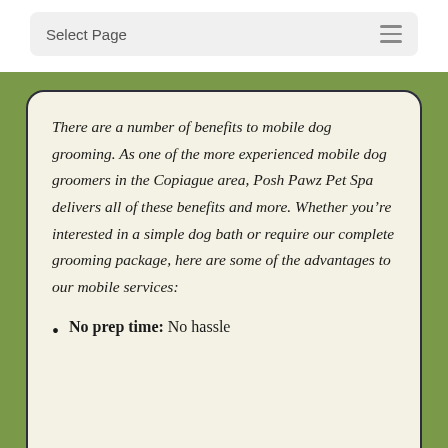Select Page
There are a number of benefits to mobile dog grooming. As one of the more experienced mobile dog groomers in the Copiague area, Posh Pawz Pet Spa delivers all of these benefits and more. Whether you're interested in a simple dog bath or require our complete grooming package, here are some of the advantages to our mobile services:
No prep time: No hassle